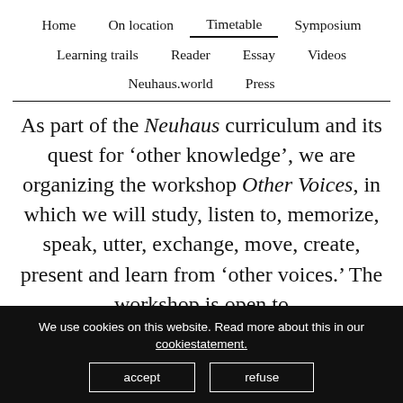Home   On location   Timetable   Symposium   Learning trails   Reader   Essay   Videos   Neuhaus.world   Press
As part of the Neuhaus curriculum and its quest for ‘other knowledge’, we are organizing the workshop Other Voices, in which we will study, listen to, memorize, speak, utter, exchange, move, create, present and learn from ‘other voices.’ The workshop is open to
We use cookies on this website. Read more about this in our cookiestatement. accept refuse